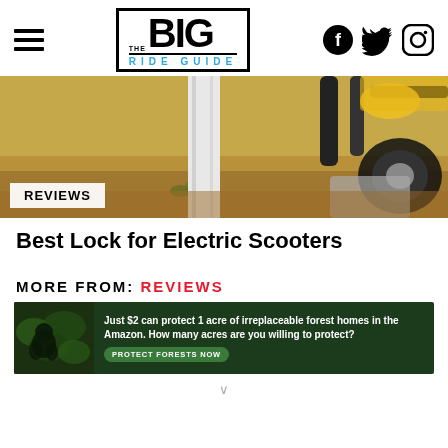[Figure (logo): The Big Ride Guide logo with hamburger menu and social icons (Facebook, Twitter, Instagram)]
[Figure (photo): Close-up photo of an electric scooter locked to a post with sandy/dirt ground background]
REVIEWS
Best Lock for Electric Scooters
MORE FROM: REVIEWS
[Figure (infographic): Advertisement: Just $2 can protect 1 acre of irreplaceable forest homes in the Amazon. How many acres are you willing to protect? PROTECT FORESTS NOW button]